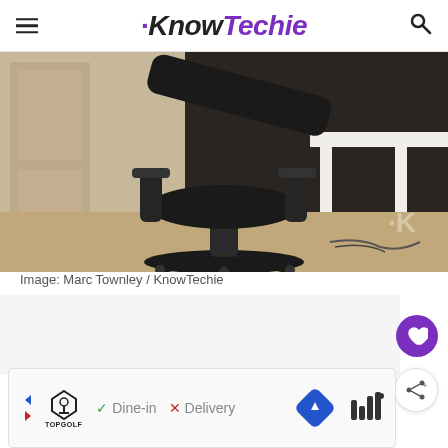KnowTechie
[Figure (photo): Close-up photo of a black gaming/office chair with armrests, in front of a white desk, taken at a low angle in a room with light-colored walls. A watermark 'K' is visible in the lower right corner of the image.]
Image: Marc Townley / KnowTechie
[Figure (screenshot): Advertisement banner for Topgolf showing dine-in and delivery options, with a blue diamond navigation icon and signal bars icon.]